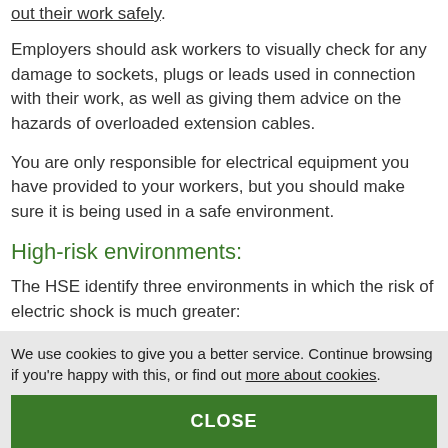out their work safely.
Employers should ask workers to visually check for any damage to sockets, plugs or leads used in connection with their work, as well as giving them advice on the hazards of overloaded extension cables.
You are only responsible for electrical equipment you have provided to your workers, but you should make sure it is being used in a safe environment.
High-risk environments:
The HSE identify three environments in which the risk of electric shock is much greater:
Wet surroundings, where unsuitable equipment can easily become live and can make its surroundings live.
We use cookies to give you a better service. Continue browsing if you're happy with this, or find out more about cookies.
CLOSE